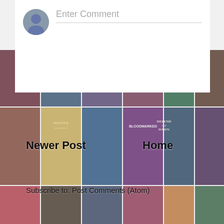[Figure (illustration): Background mosaic grid of book covers including titles like 'Defend the Dawn', 'Master of Moves', 'Rise of the Vicious Princess', 'Bloodmarked', 'Sea Knows My Name', 'Reader I Murdered Him', 'Half Souls Are Made Of', 'Youngblood', 'It All You Fall', 'Moon Dark Smile', 'Belladonna', 'Violet Made of Thorns', 'The Weight of Blood', 'Drowned Woods', and many others arranged in a grid pattern with a slightly faded/muted appearance.]
[Figure (screenshot): White comment input box overlay in the upper portion of the page. Contains a grey circular avatar/profile icon on the left and a text input field with placeholder text 'Enter Comment' with a grey underline.]
Newer Post
Home
Subscribe to: Post Comments (Atom)